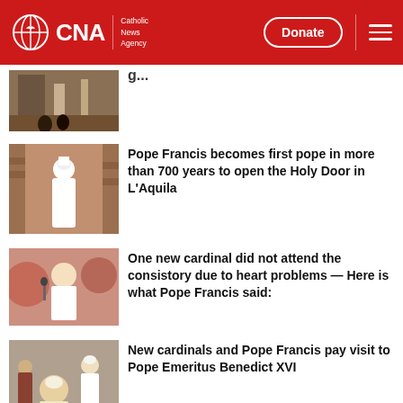CNA | Catholic News Agency — Donate
[Figure (photo): Partial thumbnail of a church interior, partially cropped at top]
[Figure (photo): Pope Francis in white papal robes standing in front of a doorway with brick arch]
Pope Francis becomes first pope in more than 700 years to open the Holy Door in L'Aquila
[Figure (photo): Pope Francis speaking at a podium in white vestments]
One new cardinal did not attend the consistory due to heart problems — Here is what Pope Francis said:
[Figure (photo): New cardinals and Pope Francis with Pope Emeritus Benedict XVI seated]
New cardinals and Pope Francis pay visit to Pope Emeritus Benedict XVI
Ad